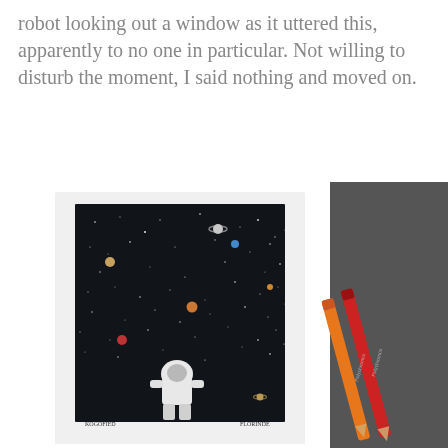robot looking out a window as it uttered this, apparently to no one in particular. Not willing to disturb the moment, I said nothing and moved on.
[Figure (illustration): Left side: an illustration/artwork on a white sketchbook page showing a dark starry night sky with planets and an astronaut or robot figure at the bottom looking up at space, with a small caption below. Right side: two colored pencils (orange and red) lying on a dark gray surface.]